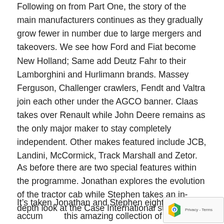Following on from Part One, the story of the main manufacturers continues as they gradually grow fewer in number due to large mergers and takeovers. We see how Ford and Fiat become New Holland; Same add Deutz Fahr to their Lamborghini and Hurlimann brands. Massey Ferguson, Challenger crawlers, Fendt and Valtra join each other under the AGCO banner. Claas takes over Renault while John Deere remains as the only major maker to stay completely independent. Other makes featured include JCB, Landini, McCormick, Track Marshall and Zetor.
As before there are two special features within the programme. Jonathan explores the evolution of the tractor cab while Stephen takes an in-depth look at the Case International story.
It’s taken Jonathan and Stephen eight years to accum... this amazing collection of tractors filmed working in th... English countryside. The monthly auction at Cheffins...